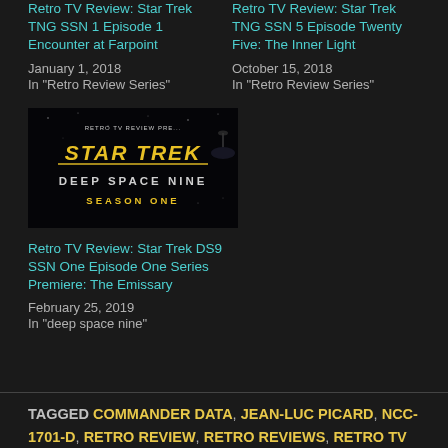Retro TV Review: Star Trek TNG SSN 1 Episode 1 Encounter at Farpoint
January 1, 2018
In "Retro Review Series"
Retro TV Review: Star Trek TNG SSN 5 Episode Twenty Five: The Inner Light
October 15, 2018
In "Retro Review Series"
[Figure (photo): Star Trek Deep Space Nine Season One promotional image with yellow logo text on black background]
Retro TV Review: Star Trek DS9 SSN One Episode One Series Premiere: The Emissary
February 25, 2019
In "deep space nine"
TAGGED COMMANDER DATA, JEAN-LUC PICARD, NCC-1701-D, RETRO REVIEW, RETRO REVIEWS, RETRO TV